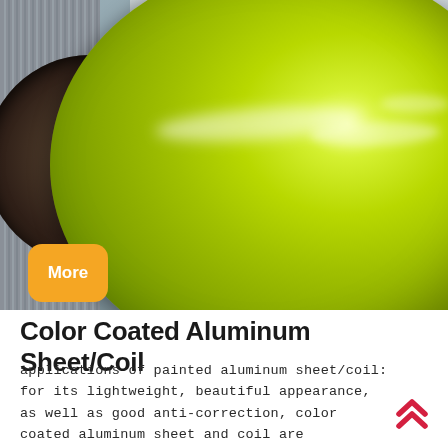[Figure (photo): A large roll/coil of color coated aluminum sheet in bright yellow-green (lime) color, sitting in an industrial setting. The coil shows the layered edges on the left side and a glossy painted surface with light reflections on the right. An orange rounded button labeled 'More' is overlaid on the lower-left of the photo.]
Color Coated Aluminum Sheet/Coil
applications of painted aluminum sheet/coil: for its lightweight, beautiful appearance, as well as good anti-correction, color coated aluminum sheet and coil are